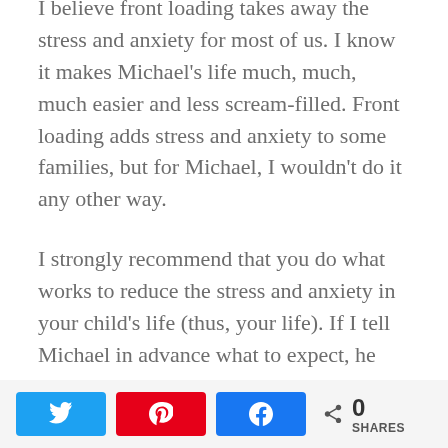I believe front loading takes away the stress and anxiety for most of us. I know it makes Michael's life much, much, much easier and less scream-filled. Front loading adds stress and anxiety to some families, but for Michael, I wouldn't do it any other way.
I strongly recommend that you do what works to reduce the stress and anxiety in your child's life (thus, your life). If I tell Michael in advance what to expect, he doesn't have to worry and be scared or surprised.
We are worth peace in our lives. We are worth knowing what's coming so we're not scared. We